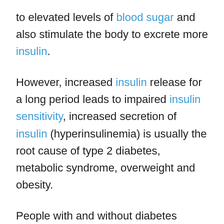to elevated levels of blood sugar and also stimulate the body to excrete more insulin.
However, increased insulin release for a long period leads to impaired insulin sensitivity, increased secretion of insulin (hyperinsulinemia) is usually the root cause of type 2 diabetes, metabolic syndrome, overweight and obesity.
People with and without diabetes should strive for more sensitivity to insulin. Dietary rearrangement is probably the most important part to restore insulin sensitivity, but exercise...